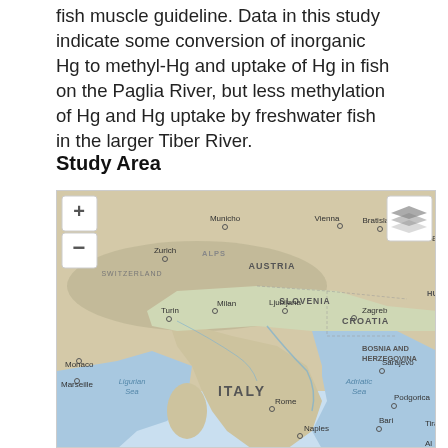fish muscle guideline. Data in this study indicate some conversion of inorganic Hg to methyl-Hg and uptake of Hg in fish on the Paglia River, but less methylation of Hg and Hg uptake by freshwater fish in the larger Tiber River.
Study Area
[Figure (map): Geographic map showing central Europe and Italy, including countries Austria, Slovenia, Croatia, Bosnia and Herzegovina, and Italy with cities Vienna, Bratislava, Munich, Zurich, Ljubljana, Zagreb, Turin, Milan, Rome, Naples, Sarajevo, Podgorica, Bari, Marseille, Monaco, and bodies of water Ligurian Sea and Adriatic Sea. Map includes zoom controls (+ and -) and a layers button.]